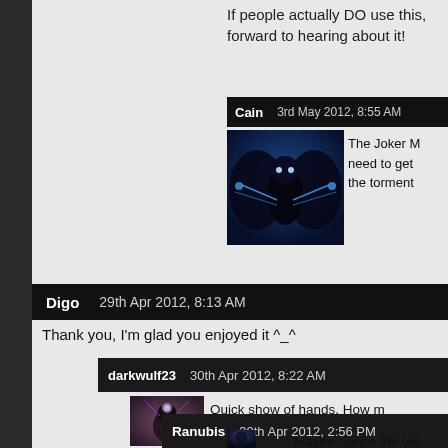If people actually DO use this, forward to hearing about it!
Cain   3rd May 2012, 8:55 AM
[Figure (illustration): Avatar image of a dark winged figure with glowing blue accents against a blue background]
The Joker M need to get the torment
Digo   29th Apr 2012, 8:13 AM
Thank you, I'm glad you enjoyed it ^_^
darkwulf23   30th Apr 2012, 8:22 AM
[Figure (illustration): Avatar image of a stylized creature with glowing elements against a pink/purple background]
Quick show of hands. How m RP this?
Ranubis   30th Apr 2012, 2:56 PM
[Figure (illustration): Avatar image of a robed figure against a dark blue background]
Maybe. Since the res over the summer, alo